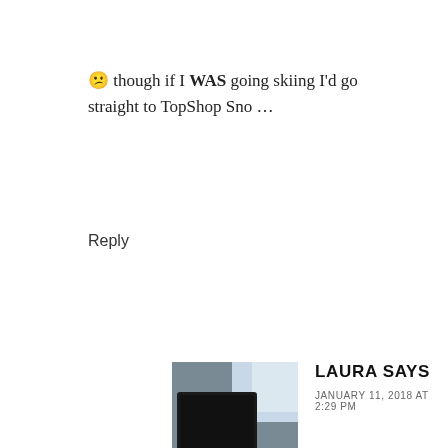😕 though if I WAS going skiing I'd go straight to TopShop Sno …
Reply
[Figure (photo): Photo of a laptop with a coffee cup on a wooden table, view from a café window]
LAURA SAYS
JANUARY 11, 2018 AT 2:29 PM
What?! they have a Sno section? Right, I am there as soon as I can to avoid any